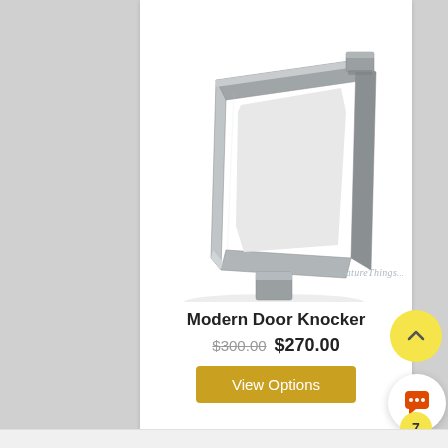[Figure (photo): Modern door knocker in brushed stainless steel, rectangular frame shape with mounting posts, photographed on white background. SignatureThings.com watermark visible.]
Modern Door Knocker
$300.00  $270.00
View Options